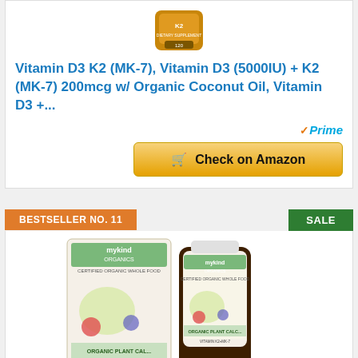[Figure (photo): Vitamin D3 K2 supplement bottle product image (top portion visible)]
Vitamin D3 K2 (MK-7), Vitamin D3 (5000IU) + K2 (MK-7) 200mcg w/ Organic Coconut Oil, Vitamin D3 +...
[Figure (logo): Amazon Prime checkmark logo with 'Prime' text]
[Figure (other): Check on Amazon button]
BESTSELLER NO. 11
SALE
[Figure (photo): mykind Organics Organic Plant Calcium supplement product — box and bottle]